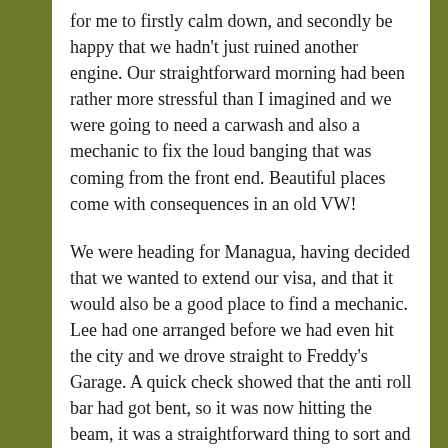for me to firstly calm down, and secondly be happy that we hadn't just ruined another engine. Our straightforward morning had been rather more stressful than I imagined and we were going to need a carwash and also a mechanic to fix the loud banging that was coming from the front end. Beautiful places come with consequences in an old VW!
We were heading for Managua, having decided that we wanted to extend our visa, and that it would also be a good place to find a mechanic. Lee had one arranged before we had even hit the city and we drove straight to Freddy's Garage. A quick check showed that the anti roll bar had got bent, so it was now hitting the beam, it was a straightforward thing to sort and for £10, the part was removed,